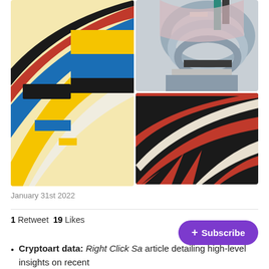[Figure (illustration): Three abstract geometric artworks arranged in a grid: left image shows colorful abstract architecture with yellow, blue, red, black and white geometric shapes; top-right shows grey-toned abstract spiral architectural forms; bottom-right shows red, black and white abstract curved geometric shapes.]
January 31st 2022
1 Retweet  19 Likes
Cryptoart data: Right Click Sa... article detailing high-level insights on recent